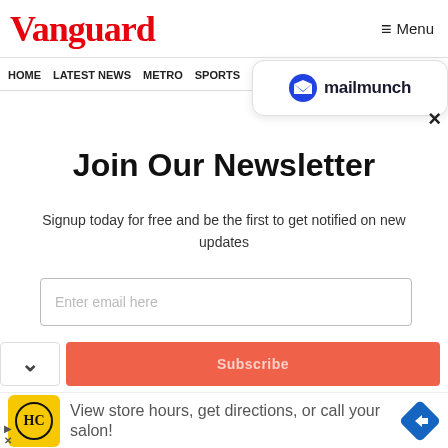Vanguard  ≡ Menu
HOME  LATEST NEWS  METRO  SPORTS  ENT...  VIDEOS
[Figure (logo): Mailmunch logo badge with blue M icon and text 'mailmunch']
×
Join Our Newsletter
Signup today for free and be the first to get notified on new updates
Enter email here
[Figure (infographic): Red Subscribe button (partially visible) with chevron/collapse button to its left]
[Figure (infographic): Ad banner: HC logo on yellow background, text 'View store hours, get directions, or call your salon!', blue diamond arrow icon]